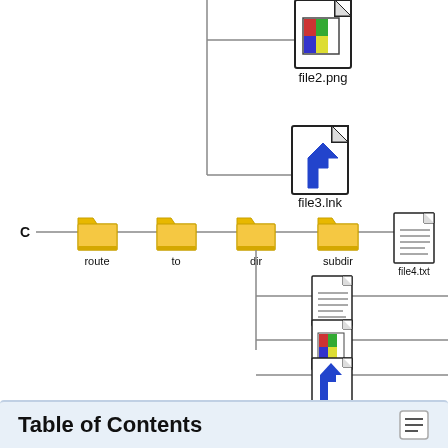[Figure (flowchart): File system tree diagram showing partial top section with file2.png (image file icon) and file3.lnk (shortcut file icon) connected by tree lines, and a full path C -> route -> to -> dir branching to subdir (with file4.txt, .file1.txt, file2.png, file3.lnk) shown with folder and file icons]
Table of Contents